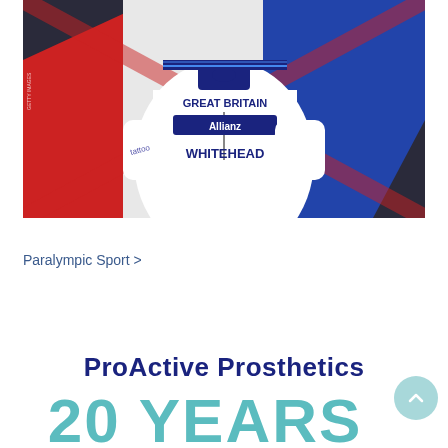[Figure (photo): Athlete wearing a Great Britain Paralympic team jersey with Allianz sponsor logo and 'WHITEHEAD' name on it, celebrating with a Union Jack flag in the background. Getty Images watermark on the left side.]
Paralympic Sport >
ProActive Prosthetics
20 YEARS